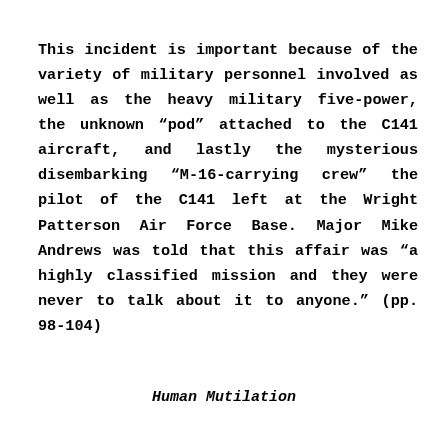This incident is important because of the variety of military personnel involved as well as the heavy military five-power, the unknown “pod” attached to the C141 aircraft, and lastly the mysterious disembarking “M-16-carrying crew” the pilot of the C141 left at the Wright Patterson Air Force Base. Major Mike Andrews was told that this affair was “a highly classified mission and they were never to talk about it to anyone.” (pp. 98-104)
Human Mutilation